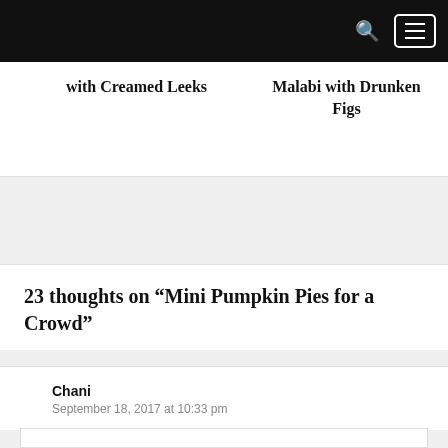with Creamed Leeks
Malabi with Drunken Figs
23 thoughts on “Mini Pumpkin Pies for a Crowd”
Chani
September 18, 2017 at 10:33 pm
What can I substitute pumpkin filling with?